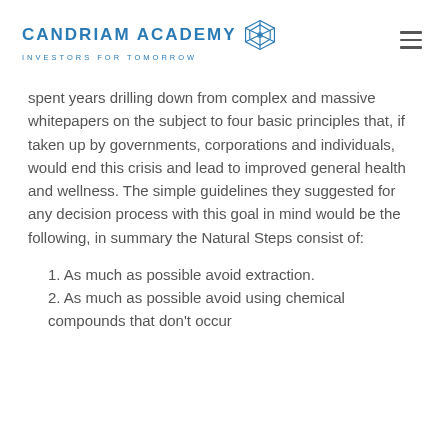CANDRIAM ACADEMY INVESTORS FOR TOMORROW
spent years drilling down from complex and massive whitepapers on the subject to four basic principles that, if taken up by governments, corporations and individuals, would end this crisis and lead to improved general health and wellness. The simple guidelines they suggested for any decision process with this goal in mind would be the following, in summary the Natural Steps consist of:
1. As much as possible avoid extraction.
2. As much as possible avoid using chemical compounds that don't occur